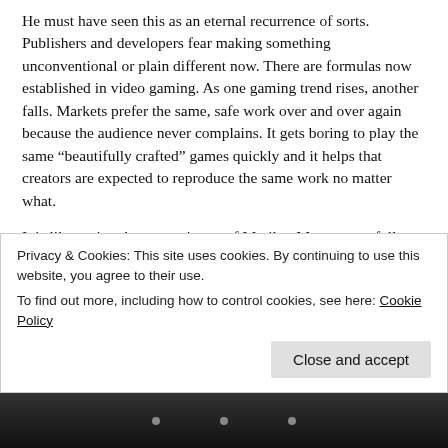He must have seen this as an eternal recurrence of sorts. Publishers and developers fear making something unconventional or plain different now. There are formulas now established in video gaming. As one gaming trend rises, another falls. Markets prefer the same, safe work over and over again because the audience never complains. It gets boring to play the same “beautifully crafted” games quickly and it helps that creators are expected to reproduce the same work no matter what.
It is like seeing the same picture of Marilyn Monroe carefully reproduced by Warhol again and again. Sure, it is art but it is the same art multiplied. This machine-like conception of art makes it meaningless to create and consume. No sense of
Privacy & Cookies: This site uses cookies. By continuing to use this website, you agree to their use.
To find out more, including how to control cookies, see here: Cookie Policy
[Figure (photo): Dark/black and white image strip at the bottom of the page, partially visible]